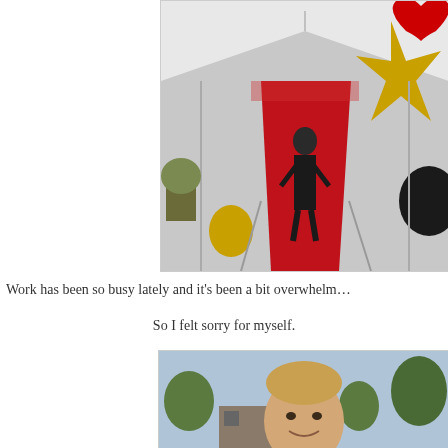[Figure (photo): Person walking down a red carpet inside a tent decorated with gold and red balloons, viewed from behind]
Work has been so busy lately and it's been a bit overwhelm…
So I felt sorry for myself.
[Figure (photo): Close-up of a young man smiling outdoors with trees in the background]